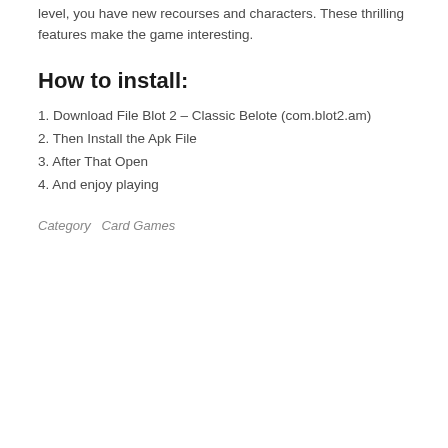level, you have new recourses and characters. These thrilling features make the game interesting.
How to install:
1. Download File Blot 2 – Classic Belote (com.blot2.am)
2. Then Install the Apk File
3. After That Open
4. And enjoy playing
Category   Card Games